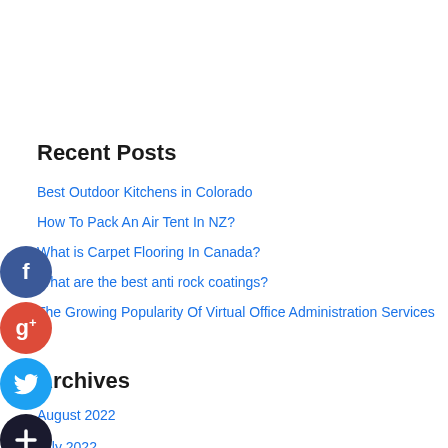Recent Posts
Best Outdoor Kitchens in Colorado
How To Pack An Air Tent In NZ?
What is Carpet Flooring In Canada?
What are the best anti rock coatings?
The Growing Popularity Of Virtual Office Administration Services
Archives
August 2022
July 2022
June 2022